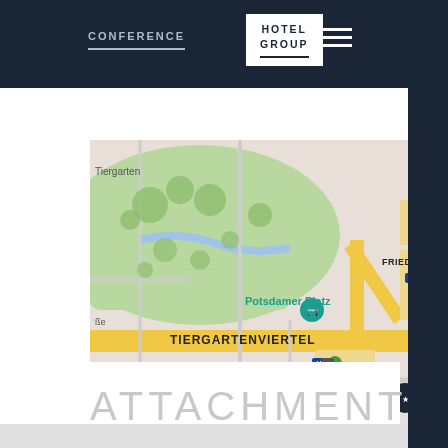CONFERENCE | HOTEL GROUP
[Figure (map): Google Maps screenshot showing Berlin area including Tiergartenviertel, Potsdamer Platz, Checkpoint Charlie, Friedrichstrasse, with road networks and landmarks]
ATTACHMENTS